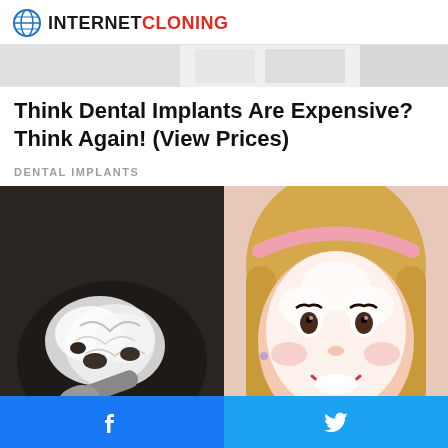INTERNET CLONING
[Figure (photo): Partial top image strip showing blurred background content]
Think Dental Implants Are Expensive? Think Again! (View Prices)
DENTAL IMPLANTS
[Figure (photo): Left: coconut oil being scooped in a dark pan. Right: smiling blonde woman with white face mask applied.]
Doctors Stunned: Home Remedy Removes